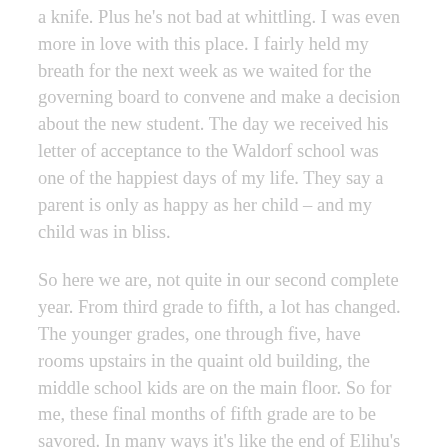a knife. Plus he's not bad at whittling. I was even more in love with this place. I fairly held my breath for the next week as we waited for the governing board to convene and make a decision about the new student. The day we received his letter of acceptance to the Waldorf school was one of the happiest days of my life. They say a parent is only as happy as her child – and my child was in bliss.
So here we are, not quite in our second complete year. From third grade to fifth, a lot has changed. The younger grades, one through five, have rooms upstairs in the quaint old building, the middle school kids are on the main floor. So for me, these final months of fifth grade are to be savored. In many ways it's like the end of Elihu's true childhood. I love that he and his classmates all make the trudge up that incredibly long, wooden staircase to their room. I love the sounds of the still-small kids. I compare them to the much-larger middle schoolers and shake my